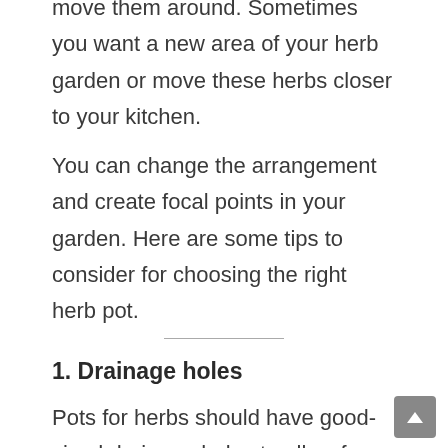move them around. Sometimes you want a new area of your herb garden or move these herbs closer to your kitchen.
You can change the arrangement and create focal points in your garden. Here are some tips to consider for choosing the right herb pot.
1. Drainage holes
Pots for herbs should have good-sized drainage holes to allow for easy draining.